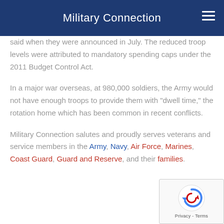Military Connection
said when they were announced in July. The reduced troop levels were attributed to mandatory spending caps under the 2011 Budget Control Act.
In a major war overseas, at 980,000 soldiers, the Army would not have enough troops to provide them with "dwell time," the rotation home which has been common in recent conflicts.
Military Connection salutes and proudly serves veterans and service members in the Army, Navy, Air Force, Marines, Coast Guard, Guard and Reserve, and their families.
[Figure (other): reCAPTCHA Privacy - Terms badge in bottom right corner]